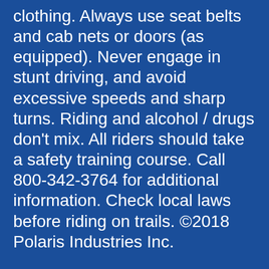clothing. Always use seat belts and cab nets or doors (as equipped). Never engage in stunt driving, and avoid excessive speeds and sharp turns. Riding and alcohol / drugs don’t mix. All riders should take a safety training course. Call 800-342-3764 for additional information. Check local laws before riding on trails. ©2018 Polaris Industries Inc.
Due to continued challenges across supplier networks as well as increasing logistics costs, product pricing, freight charges, specifications, and features are subject to change at any time without prior notice. Please confirm all information with your local dealership.